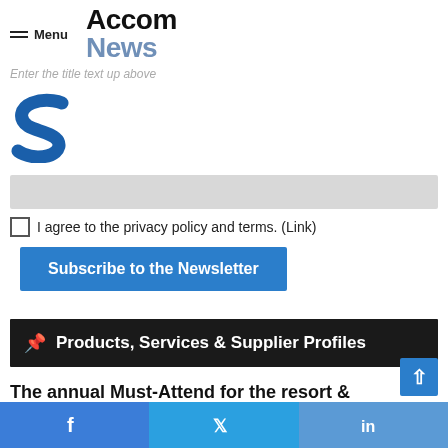Menu | Accom News
Enter the title text up above
[Figure (logo): Blue stylized letter S logo]
[input field / grey box]
I agree to the privacy policy and terms. (Link)
Subscribe to the Newsletter
Products, Services & Supplier Profiles
The annual Must-Attend for the resort & accommodation properties is back!
Facebook | Twitter | LinkedIn social share bar